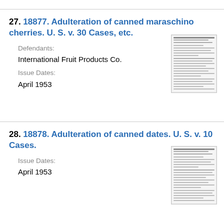27. 18877. Adulteration of canned maraschino cherries. U. S. v. 30 Cases, etc.
Defendants: International Fruit Products Co.
Issue Dates: April 1953
[Figure (other): Thumbnail image of a legal document page]
28. 18878. Adulteration of canned dates. U. S. v. 10 Cases.
Issue Dates: April 1953
[Figure (other): Thumbnail image of a legal document page]